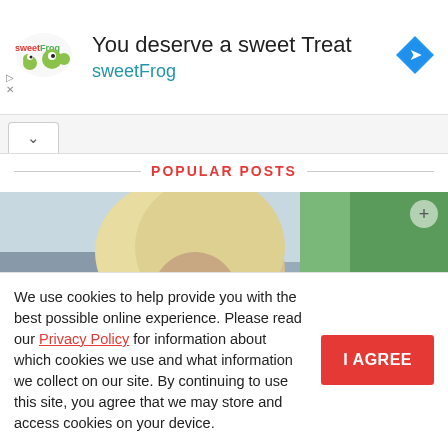[Figure (other): SweetFrog advertisement banner with logo, text 'You deserve a sweet Treat', 'sweetFrog' subtitle in teal, and a blue diamond navigation icon]
POPULAR POSTS
[Figure (photo): Photo of a woman with blonde hair and sunglasses outdoors near cars and trees]
We use cookies to help provide you with the best possible online experience. Please read our Privacy Policy for information about which cookies we use and what information we collect on our site. By continuing to use this site, you agree that we may store and access cookies on your device.